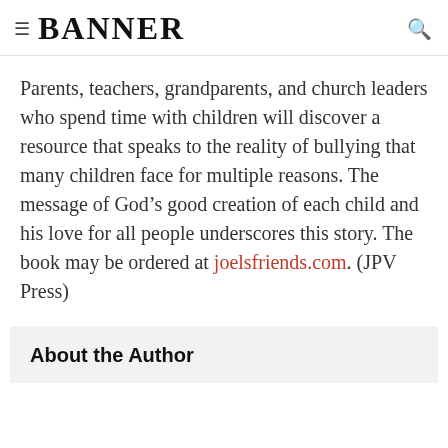BANNER
Parents, teachers, grandparents, and church leaders who spend time with children will discover a resource that speaks to the reality of bullying that many children face for multiple reasons. The message of God’s good creation of each child and his love for all people underscores this story. The book may be ordered at joelsfriends.com. (JPV Press)
About the Author